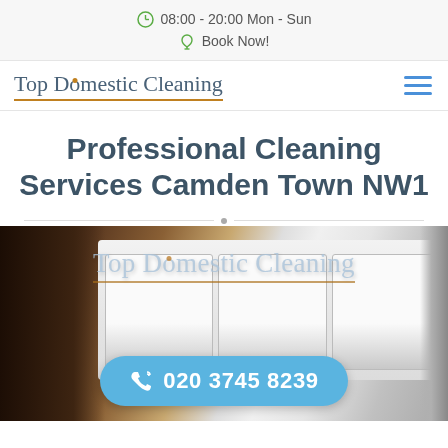08:00 - 20:00 Mon - Sun
Book Now!
Top Domestic Cleaning
Professional Cleaning Services Camden Town NW1
[Figure (photo): Washing machine detergent drawer with Top Domestic Cleaning logo overlay and phone number button '020 3745 8239']